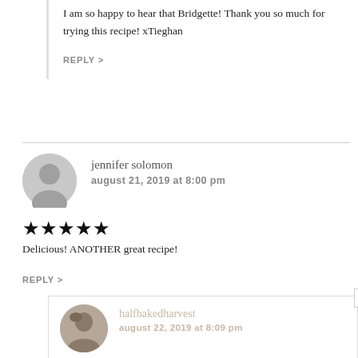I am so happy to hear that Bridgette! Thank you so much for trying this recipe! xTieghan
REPLY >
jennifer solomon
august 21, 2019 at 8:00 pm
★★★★★
Delicious! ANOTHER great recipe!
REPLY >
halfbakedharvest
august 22, 2019 at 8:09 pm